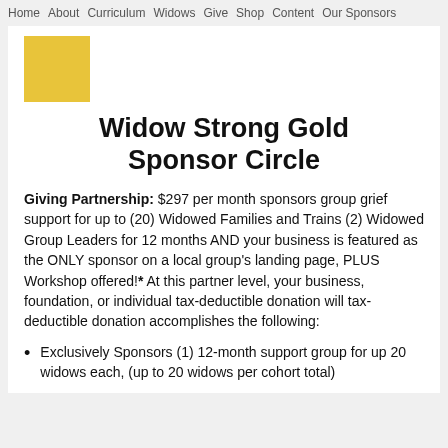Home  About  Curriculum  Widows  Give  Shop  Content  Our Sponsors
[Figure (illustration): Gold/yellow square logo for Widow Strong]
Widow Strong Gold Sponsor Circle
Giving Partnership: $297 per month sponsors group grief support for up to (20) Widowed Families and Trains (2) Widowed Group Leaders for 12 months AND your business is featured as the ONLY sponsor on a local group's landing page, PLUS Workshop offered!* At this partner level, your business, foundation, or individual tax-deductible donation will tax-deductible donation accomplishes the following:
Exclusively Sponsors (1) 12-month support group for up 20 widows each, (up to 20 widows per cohort total)